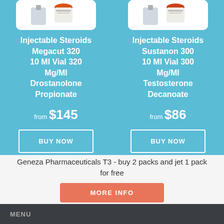Injectable Steroids Megacut 320 10 Ml Vial 320 Mg/Ml Drostanolone Propionate
from $145
BUY NOW
Injectable Steroids Sustanon 300 10 Ml Vial 300 Mg/Ml Testosterone Decanoate
from $86
BUY NOW
Geneza Pharmaceuticals T3 - buy 2 packs and jet 1 pack for free
MORE INFO
MENU